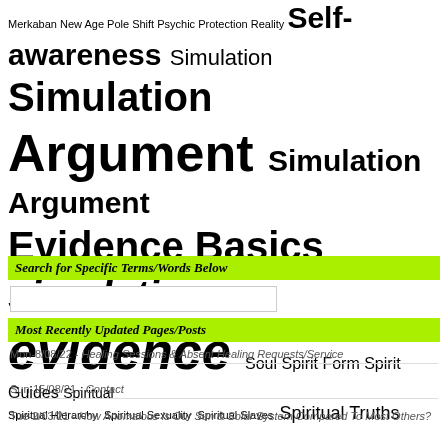Merkaban New Age Pole Shift Psychic Protection Reality Self-awareness Simulation Simulation Argument Simulation Argument Evidence Basics simulation evidence Soul Spirit Form Spirit Guides Spiritual Spiritual Hierarchy Spiritual Sexuality Spiritual Slaves Spiritual Truths subtle body subtle environment Surreal thinking Virtual Reality
Search for Specific Terms/Words Below
Most Recently Updated Pages/Posts
Mon-8/08/22 - Healing Sessions & Absent Healing Requests/Service
Sun-15/08/21 - Contact
Tue-2/03/21 - How Anomalous Is Our Sun & Solar System Compared To Most Others?